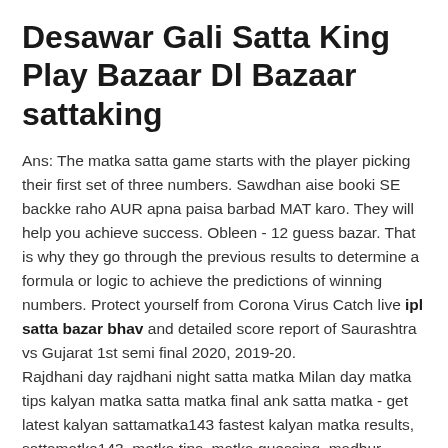Desawar Gali Satta King Play Bazaar Dl Bazaar sattaking
Ans: The matka satta game starts with the player picking their first set of three numbers. Sawdhan aise booki SE backke raho AUR apna paisa barbad MAT karo. They will help you achieve success. Obleen - 12 guess bazar. That is why they go through the previous results to determine a formula or logic to achieve the predictions of winning numbers. Protect yourself from Corona Virus Catch live ipl satta bazar bhav and detailed score report of Saurashtra vs Gujarat 1st semi final 2020, 2019-20.
Rajdhani day rajdhani night satta matka Milan day matka tips kalyan matka satta matka final ank satta matka - get latest kalyan sattamatka143 fastest kalyan matka results, sattamatka143, matka tips, matka guessing, madhur matka, matka charts matka trick. We ipl live satta bazar offer you a wide variety of services punjab satta bazar result like live games, predictions, free tips, chart, weekly